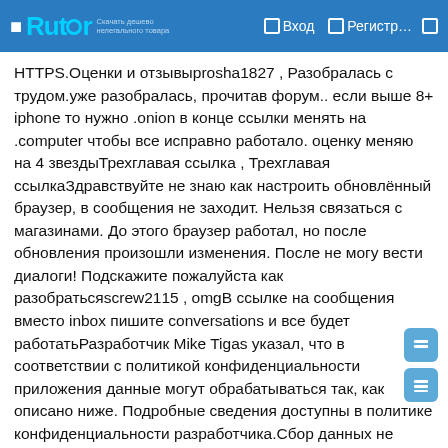Rutor — Вход — Регистр...
HTTPS.Оценки и отзывыprosha1827 , Разобралась с трудом.уже разобралась, прочитав форум.. если выше 8+ iphone то нужно .onion в конце ссылки менять на .computer чтобы все исправно работало. оценку меняю на 4 звездыТрехглавая ссылка , Трехглавая ссылкаЗдравствуйте не знаю как настроить обновлённый браузер, в сообщения не заходит. Нельзя связаться с магазинами. До этого браузер работал, но после обновления произошли изменения. После не могу вести диалоги! Подскажите пожалуйста как разобратьсяscrew2115 , omgВ ссылке на сообщения вместо inbox пишите conversations и все будет работатьРазработчик Mike Tigas указал, что в соответствии с политикой конфиденциальности приложения данные могут обрабатываться так, как описано ниже. Подробные сведения доступны в политике конфиденциальности разработчика.Сбор данных не ведетсяРазработчик не ведет сбор данных в этом приложении.Конфиденциальные данные могут использоваться по-разному в зависимости от вашего возраста, задействованных функций или других